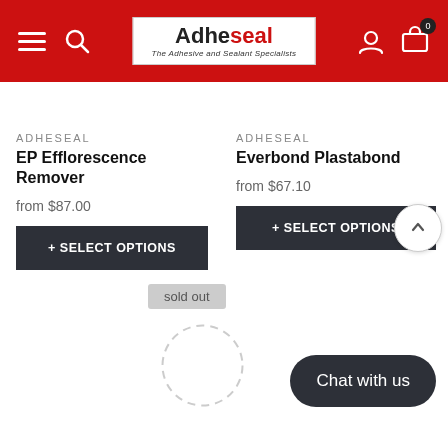Adheseal – The Adhesive and Sealant Specialists
ADHESEAL
EP Efflorescence Remover
from $87.00
+ SELECT OPTIONS
ADHESEAL
Everbond Plastabond
from $67.10
+ SELECT OPTIONS
sold out
Chat with us